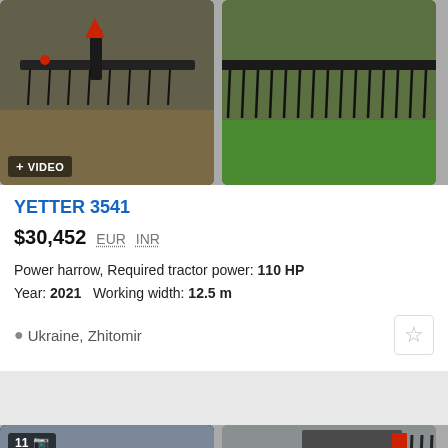[Figure (photo): Farm power harrow equipment shown from front angle on dirt surface, with video badge overlay. Second image shows rows of harrow tines against green grass.]
YETTER 3541
$30,452   EUR   INR
Power harrow, Required tractor power: 110 HP
Year: 2021   Working width: 12.5 m
Ukraine, Zhitomir
[Figure (photo): Blue tractor pulling power harrow on dark plowed field, and close-up of harrow wheels and tines.]